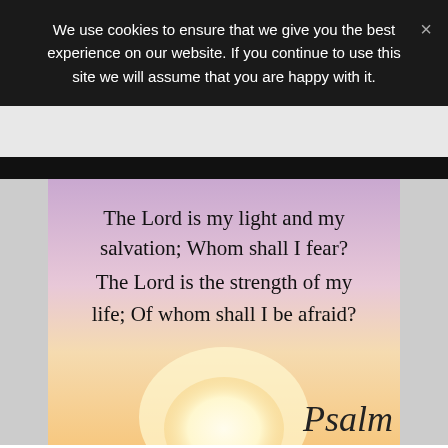We use cookies to ensure that we give you the best experience on our website. If you continue to use this site we will assume that you are happy with it.
[Figure (illustration): Inspirational image with a sunrise/sunset background showing pink and purple sky with a glowing white sun. Text overlay reads a Bible verse from Psalm 27:1.]
The Lord is my light and my salvation; Whom shall I fear? The Lord is the strength of my life; Of whom shall I be afraid?